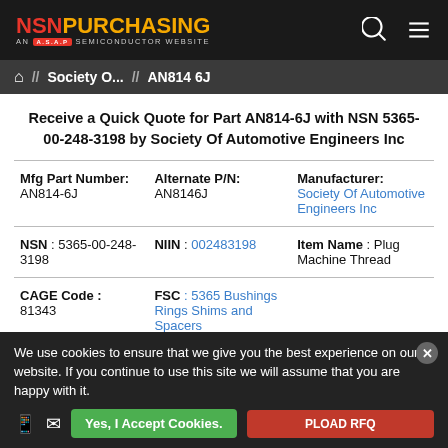NSN PURCHASING — AN A.S.A.P SEMICONDUCTOR WEBSITE
Home // Society O... // AN814 6J
Receive a Quick Quote for Part AN814-6J with NSN 5365-00-248-3198 by Society Of Automotive Engineers Inc
| Mfg Part Number | Alternate P/N | Manufacturer |
| --- | --- | --- |
| AN814-6J | AN8146J | Society Of Automotive Engineers Inc |
| NSN : 5365-00-248-3198 | NIIN : 002483198 | Item Name : Plug Machine Thread |
| CAGE Code : 81343 | FSC : 5365 Bushings Rings Shims and Spacers |  |
We use cookies to ensure that we give you the best experience on our website. If you continue to use this site we will assume that you are happy with it.